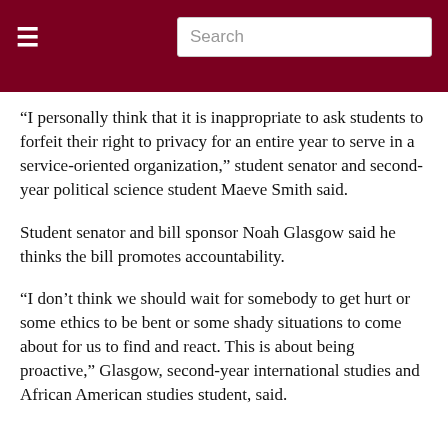Search
“I personally think that it is inappropriate to ask students to forfeit their right to privacy for an entire year to serve in a service-oriented organization,” student senator and second-year political science student Maeve Smith said.
Student senator and bill sponsor Noah Glasgow said he thinks the bill promotes accountability.
“I don’t think we should wait for somebody to get hurt or some ethics to be bent or some shady situations to come about for us to find and react. This is about being proactive,” Glasgow, second-year international studies and African American studies student, said.